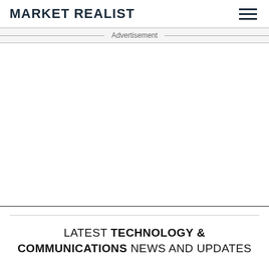MARKET REALIST
Advertisement
LATEST TECHNOLOGY & COMMUNICATIONS NEWS AND UPDATES